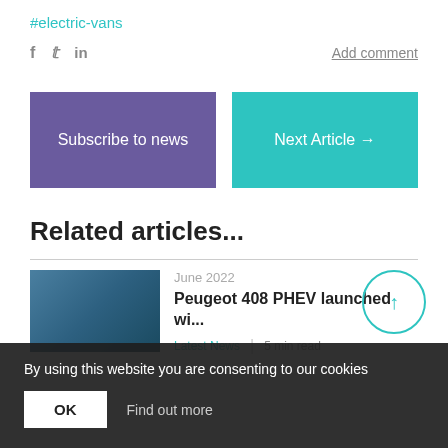#electric-vans
f  t  in    Add comment
[Figure (screenshot): Subscribe to news button (purple) and Next Article button (teal) side by side]
Related articles...
[Figure (photo): Thumbnail photo of Peugeot 408 PHEV article]
June 2022
Peugeot 408 PHEV launched wi...
Latest News   5 min read
By using this website you are consenting to our cookies
OK   Find out more